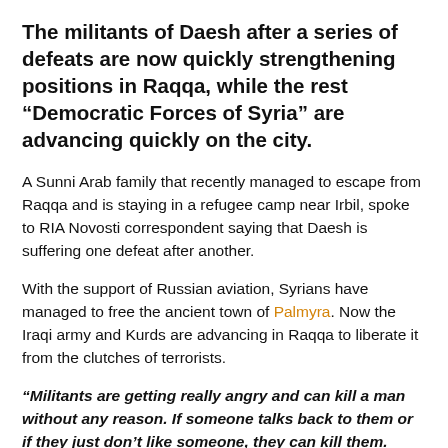The militants of Daesh after a series of defeats are now quickly strengthening positions in Raqqa, while the rest “Democratic Forces of Syria” are advancing quickly on the city.
A Sunni Arab family that recently managed to escape from Raqqa and is staying in a refugee camp near Irbil, spoke to RIA Novosti correspondent saying that Daesh is suffering one defeat after another.
With the support of Russian aviation, Syrians have managed to free the ancient town of Palmyra. Now the Iraqi army and Kurds are advancing in Raqqa to liberate it from the clutches of terrorists.
“Militants are getting really angry and can kill a man without any reason. If someone talks back to them or if they just don’t like someone, they can kill them. There